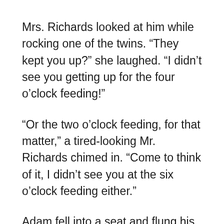Mrs. Richards looked at him while rocking one of the twins. “They kept you up?” she laughed. “I didn’t see you getting up for the four o’clock feeding!”
“Or the two o’clock feeding, for that matter,” a tired-looking Mr. Richards chimed in. “Come to think of it, I didn’t see you at the six o’clock feeding either.”
Adam fell into a seat and flung his head down on the table. “Well, they woke me up. Again and again and again. Why do they need to cry every time they eat? And so